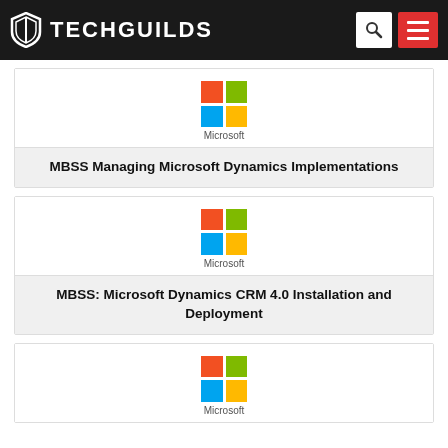TECHGUILDS
[Figure (logo): Microsoft four-color logo with text 'Microsoft' below]
MBSS Managing Microsoft Dynamics Implementations
[Figure (logo): Microsoft four-color logo with text 'Microsoft' below]
MBSS: Microsoft Dynamics CRM 4.0 Installation and Deployment
[Figure (logo): Microsoft four-color logo with text 'Microsoft' below]